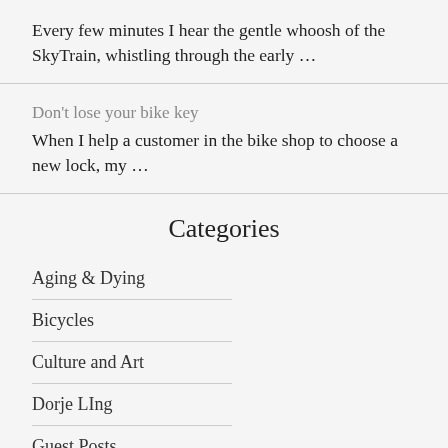Every few minutes I hear the gentle whoosh of the SkyTrain, whistling through the early …
Don't lose your bike key
When I help a customer in the bike shop to choose a new lock, my …
Categories
Aging & Dying
Bicycles
Culture and Art
Dorje LIng
Guest Posts